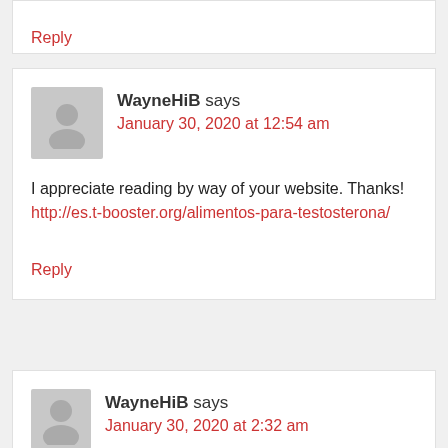Reply (truncated top)
WayneHiB says
January 30, 2020 at 12:54 am

I appreciate reading by way of your website. Thanks! http://es.t-booster.org/alimentos-para-testosterona/

Reply
WayneHiB says
January 30, 2020 at 2:32 am